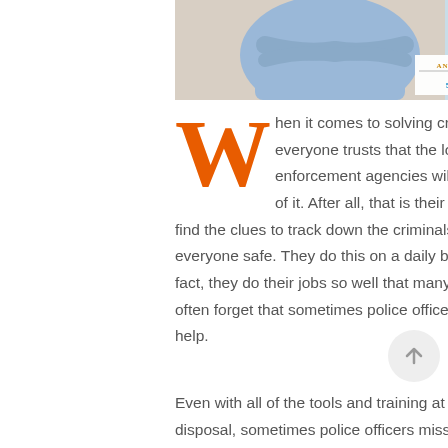[Figure (photo): Partial photo of a person in a blue long-sleeve shirt with arms crossed, against a beige wall, with an Andy Moreno real estate advertisement overlay showing phone number 559.685.1282]
When it comes to solving crimes, everyone trusts that the local law enforcement agencies will take care of it. After all, that is their job. They find the clues to track down the criminals and keep everyone safe. They do this on a daily basis. In fact, they do their jobs so well that many people often forget that sometimes police officers need help.
Even with all of the tools and training at their disposal, sometimes police officers miss